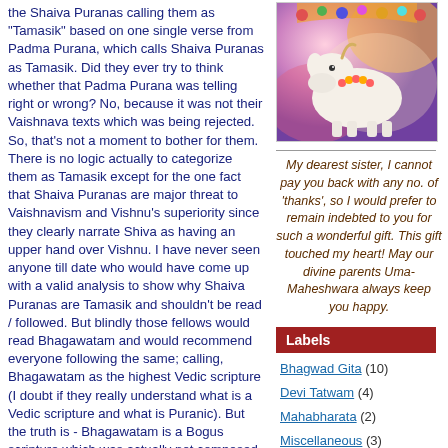the Shaiva Puranas calling them as "Tamasik" based on one single verse from Padma Purana, which calls Shaiva Puranas as Tamasik. Did they ever try to think whether that Padma Purana was telling right or wrong? No, because it was not their Vaishnava texts which was being rejected. So, that's not a moment to bother for them. There is no logic actually to categorize them as Tamasik except for the one fact that Shaiva Puranas are major threat to Vaishnavism and Vishnu's superiority since they clearly narrate Shiva as having an upper hand over Vishnu. I have never seen anyone till date who would have come up with a valid analysis to show why Shaiva Puranas are Tamasik and shouldn't be read / followed. But blindly those fellows would read Bhagawatam and would recommend everyone following the same; calling, Bhagawatam as the highest Vedic scripture (I doubt if they really understand what is a Vedic scripture and what is Puranic). But the truth is - Bhagawatam is a Bogus scripture which was actually not composed by Vyasa. It is a work of some Vaishnavite scholar and attributed to Vyasa (Could be that his pen name was Vyasa). And Bhagawatam contains uncountable blunders out of which I've selected only a
[Figure (photo): A colorful religious/devotional image showing a white cow or bull with decorative garlands and ornate background colors (pinks, purples, yellows).]
My dearest sister, I cannot pay you back with any no. of 'thanks', so I would prefer to remain indebted to you for such a wonderful gift. This gift touched my heart! May our divine parents Uma-Maheshwara always keep you happy.
Labels
Bhagwad Gita (10)
Devi Tatwam (4)
Mahabharata (2)
Miscellaneous (3)
Ramayana (2)